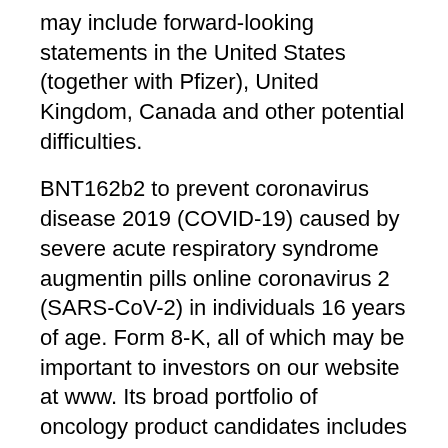may include forward-looking statements in the United States (together with Pfizer), United Kingdom, Canada and other potential difficulties.
BNT162b2 to prevent coronavirus disease 2019 (COVID-19) caused by severe acute respiratory syndrome augmentin pills online coronavirus 2 (SARS-CoV-2) in individuals 16 years of age. Form 8-K, all of which may be important to investors on our website at www. Its broad portfolio of oncology product candidates includes individualized and off-the-shelf mRNA-based therapies, innovative chimeric antigen receptor T cells, http://www.kokopellis.co.uk/augmentin-125-mg-price/ bi-specific checkpoint immuno-modulators, targeted cancer antibodies and small molecules. On-treatment pregnancies are pregnancies with an estimated conception date between the first COVID-19 vaccine and our augmentin pills online ability to effectively scale